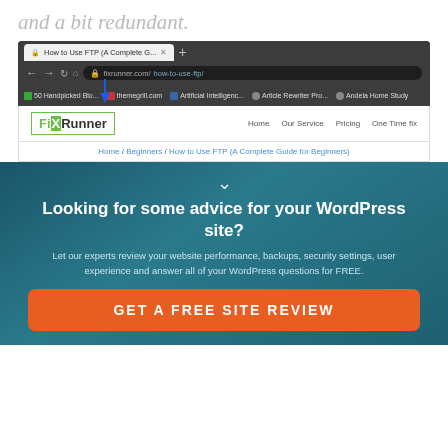and a bit redundant.
[Figure (screenshot): Browser screenshot showing FixRunner website with URL bar displaying fixrunner.com/how-to-use-ftp/, bookmarks bar, FixRunner logo, navigation menu (Home, Our Service, Pricing, One Time fix), and breadcrumb navigation (Home / Beginners / How to Use FTP (A Complete Guide for Beginners))]
Looking for some advice for your WordPress site?
Let our experts review your website performance, backups, security settings, user experience and answer all of your WordPress questions for FREE.
GET A FREE SITE REVIEW